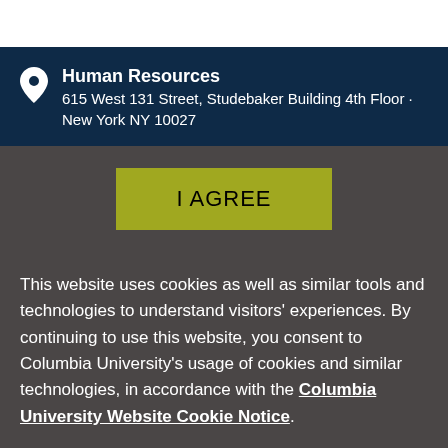Human Resources
615 West 131 Street, Studebaker Building 4th Floor · New York NY 10027
I AGREE
This website uses cookies as well as similar tools and technologies to understand visitors' experiences. By continuing to use this website, you consent to Columbia University's usage of cookies and similar technologies, in accordance with the Columbia University Website Cookie Notice.